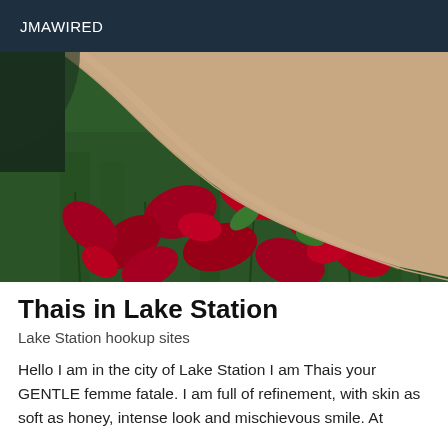JMAWIRED
[Figure (photo): Close-up photo of a person's arm resting on green grass covered with red rose petals]
Thais in Lake Station
Lake Station hookup sites
Hello I am in the city of Lake Station I am Thais your GENTLE femme fatale. I am full of refinement, with skin as soft as honey, intense look and mischievous smile. At